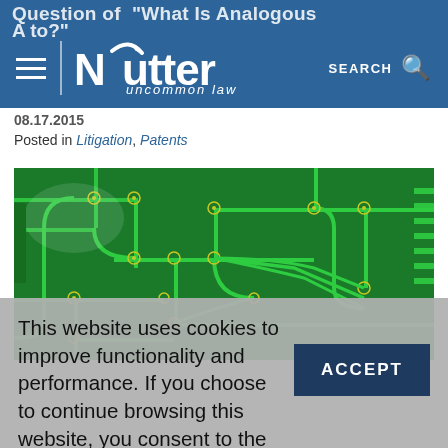Question of "What Is Analogous A to?" — Nutter | uncommon law
08.17.2015
Posted in Litigation, Patents
[Figure (photo): Close-up photograph of a green printed circuit board (PCB) with traces, vias, and solder points.]
This website uses cookies to improve functionality and performance. If you choose to continue browsing this website, you consent to the use of cookies.